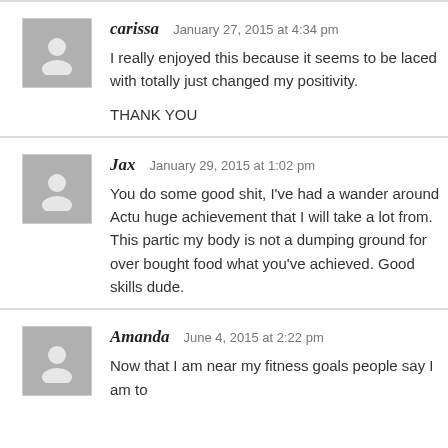carissa   January 27, 2015 at 4:34 pm
I really enjoyed this because it seems to be laced with totally just changed my positivity.

THANK YOU
Jax   January 29, 2015 at 1:02 pm
You do some good shit, I've had a wander around Actu huge achievement that I will take a lot from. This partic my body is not a dumping ground for over bought food what you've achieved. Good skills dude.
Amanda   June 4, 2015 at 2:22 pm
Now that I am near my fitness goals people say I am to